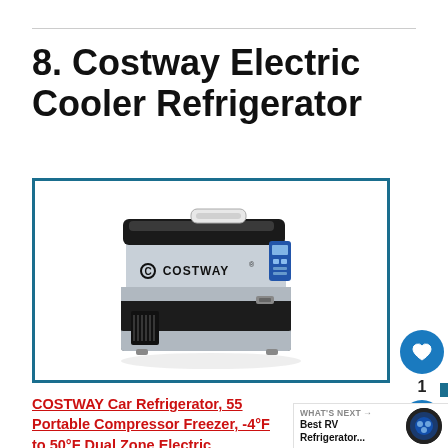8. Costway Electric Cooler Refrigerator
[Figure (photo): Costway branded portable electric cooler/refrigerator with black and silver body, handle on top, digital display panel on front, and ventilation grille on the side.]
COSTWAY Car Refrigerator, 55 Portable Compressor Freezer, -4°F to 50°F Dual Zone Electric